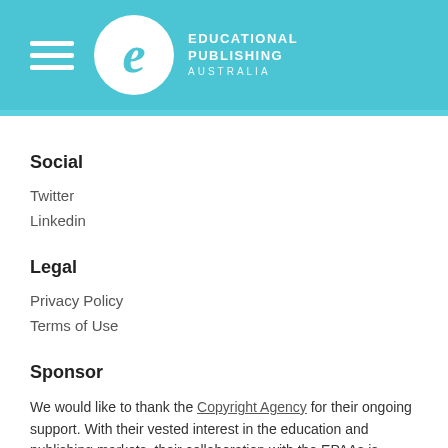[Figure (logo): Educational Publishing Australia logo with hamburger menu icon, circular white logo with italic 'e', and text 'EDUCATIONAL PUBLISHING AUSTRALIA' on teal/cyan background]
Social
Twitter
Linkedin
Legal
Privacy Policy
Terms of Use
Sponsor
We would like to thank the Copyright Agency for their ongoing support. With their vested interest in the education and publishing markets, their collaboration with the EPAAs is welcomed. We’re also indebted to Booktopia,